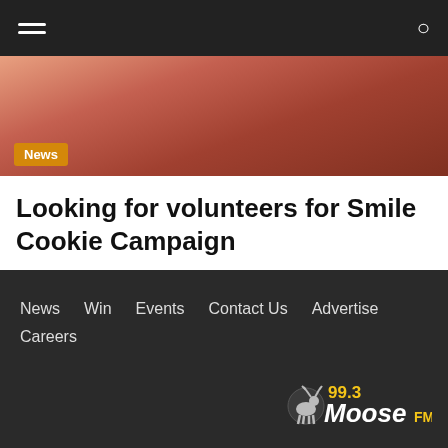Navigation bar with hamburger menu and search icon
[Figure (photo): Partial image showing colorful scene with a News badge overlay in the lower left corner]
Looking for volunteers for Smile Cookie Campaign
LOAD MORE ∨
News  Win  Events  Contact Us  Advertise  Careers
[Figure (logo): 99.3 Moose FM radio station logo in yellow and white text on dark background]